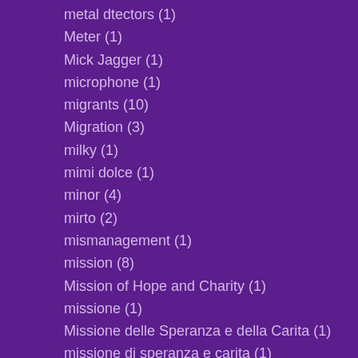metal dtectors (1)
Meter (1)
Mick Jagger (1)
microphone (1)
migrants (10)
Migration (3)
milky (1)
mimi dolce (1)
minor (4)
mirto (2)
mismanagement (1)
mission (8)
Mission of Hope and Charity (1)
missione (1)
Missione delle Speranza e della Carita (1)
missione di speranza e carita (1)
Missione Santa Chiara (1)
mistretta (1)
Mo (1)